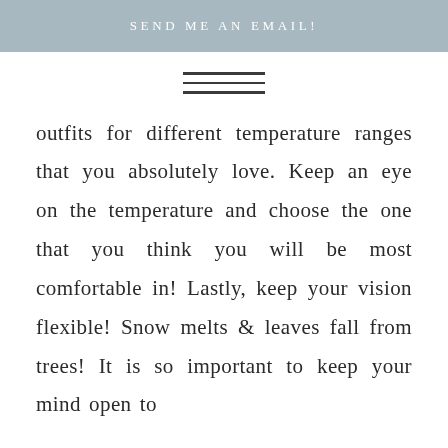SEND ME AN EMAIL!
[Figure (other): Hamburger menu icon with three horizontal lines]
outfits for different temperature ranges that you absolutely love. Keep an eye on the temperature and choose the one that you think you will be most comfortable in! Lastly, keep your vision flexible! Snow melts & leaves fall from trees! It is so important to keep your mind open to